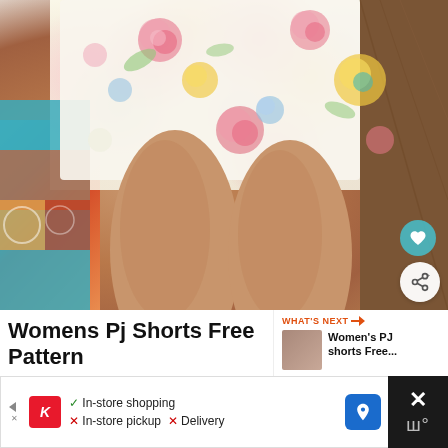[Figure (photo): Photo of woman's legs wearing floral print shorts (white background with pink roses, yellow flowers, blue and green floral patterns). To the left is a colorful patterned blanket/textile. Background shows wooden slats/floor on right side. Two circular UI buttons visible on right: teal heart/like button and white share button.]
WHAT'S NEXT → Women's PJ shorts Free...
Womens Pj Shorts Free Pattern
✓ In-store shopping  ✗ In-store pickup  ✗ Delivery